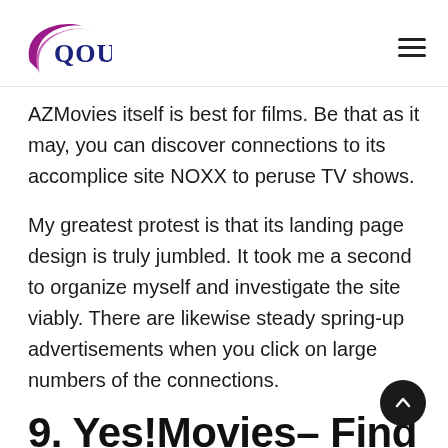[Figure (logo): QOUK logo with purple swoosh/crescent shape on the left and the text QOUK in dark navy blue serif font]
AZMovies itself is best for films. Be that as it may, you can discover connections to its accomplice site NOXX to peruse TV shows.
My greatest protest is that its landing page design is truly jumbled. It took me a second to organize myself and investigate the site viably. There are likewise steady spring-up advertisements when you click on large numbers of the connections.
9. Yes!Movies– Find